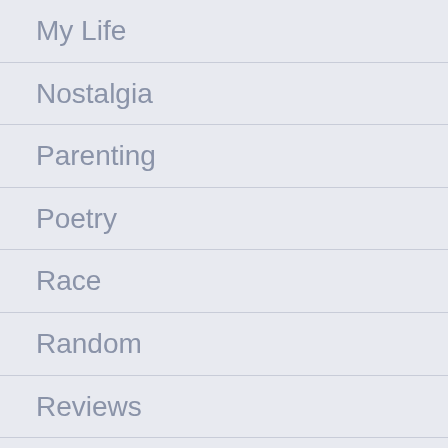My Life
Nostalgia
Parenting
Poetry
Race
Random
Reviews
Social Media
Special
Sports